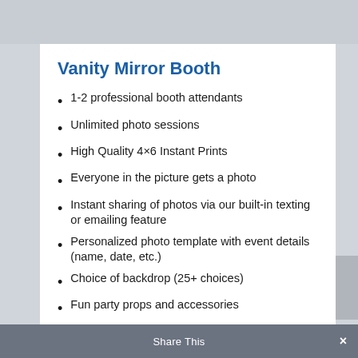Vanity Mirror Booth
1-2 professional booth attendants
Unlimited photo sessions
High Quality 4×6 Instant Prints
Everyone in the picture gets a photo
Instant sharing of photos via our built-in texting or emailing feature
Personalized photo template with event details (name, date, etc.)
Choice of backdrop (25+ choices)
Fun party props and accessories
Digital props
Access to ALL photos/pictures taken at
Share This ×